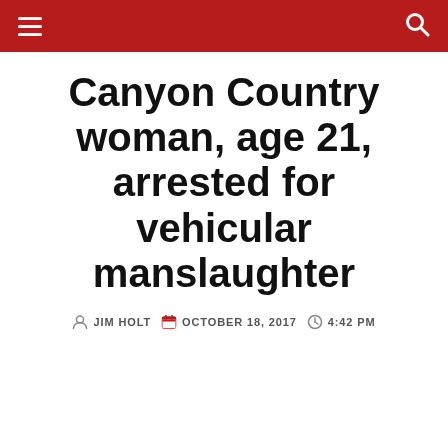Canyon Country woman, age 21, arrested for vehicular manslaughter
JIM HOLT   OCTOBER 18, 2017   4:42 PM